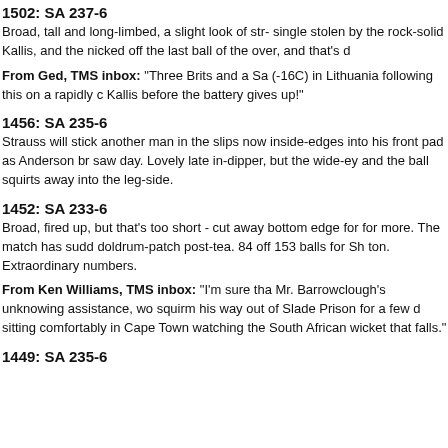1502: SA 237-6
Broad, tall and long-limbed, a slight look of str- - single stolen by the rock-solid Kallis, and the nicked off the last ball of the over, and that's d
From Ged, TMS inbox: "Three Brits and a Sa (-16C) in Lithuania following this on a rapidly c Kallis before the battery gives up!"
1456: SA 235-6
Strauss will stick another man in the slips now inside-edges into his front pad as Anderson br saw day. Lovely late in-dipper, but the wide-ey and the ball squirts away into the leg-side.
1452: SA 233-6
Broad, fired up, but that's too short - cut away bottom edge for for more. The match has sudd doldrum-patch post-tea. 84 off 153 balls for Sh ton. Extraordinary numbers.
From Ken Williams, TMS inbox: "I'm sure tha Mr. Barrowclough's unknowing assistance, wo squirm his way out of Slade Prison for a few d sitting comfortably in Cape Town watching the South African wicket that falls."
1449: SA 235-6